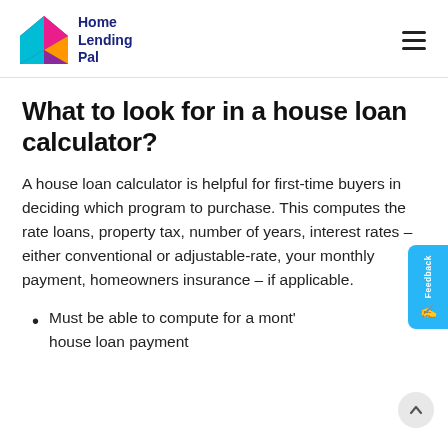Home Lending Pal
What to look for in a house loan calculator?
A house loan calculator is helpful for first-time buyers in deciding which program to purchase. This computes the rate loans, property tax, number of years, interest rates – either conventional or adjustable-rate, your monthly payment, homeowners insurance – if applicable.
Must be able to compute for a mont' house loan payment